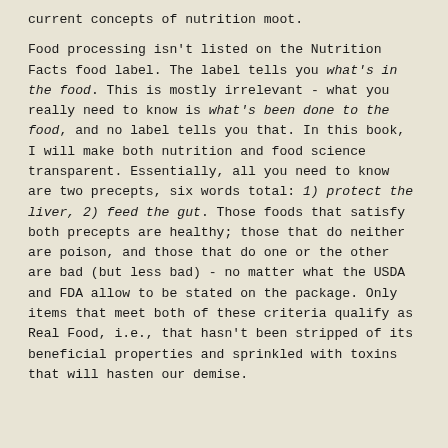current concepts of nutrition moot.
Food processing isn't listed on the Nutrition Facts food label. The label tells you what's in the food. This is mostly irrelevant - what you really need to know is what's been done to the food, and no label tells you that. In this book, I will make both nutrition and food science transparent. Essentially, all you need to know are two precepts, six words total: 1) protect the liver, 2) feed the gut. Those foods that satisfy both precepts are healthy; those that do neither are poison, and those that do one or the other are bad (but less bad) - no matter what the USDA and FDA allow to be stated on the package. Only items that meet both of these criteria qualify as Real Food, i.e., that hasn't been stripped of its beneficial properties and sprinkled with toxins that will hasten our demise.